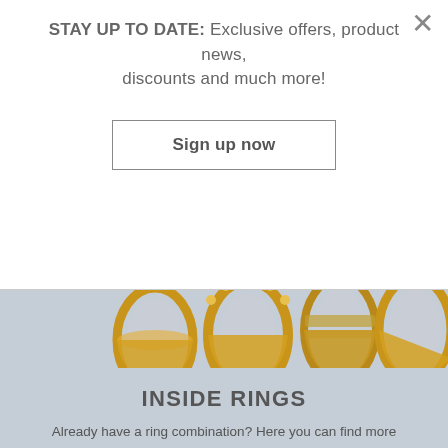STAY UP TO DATE: Exclusive offers, product news, discounts and much more!
Sign up now
[Figure (photo): Four gold rings shown from above on a light blue-grey background, showing different ring styles including plain, beaded, diamond-encrusted, and textured rings]
INSIDE RINGS
Already have a ring combination? Here you can find more inner rings to create new styles.